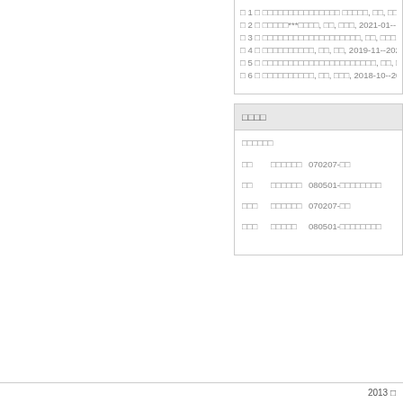□ 1 □ □□□□□□□□□□□□□□□ □□□□□, □□, □□□, 20...
□ 2 □ □□□□□***□□□□, □□, □□□, 2021-01--...
□ 3 □ □□□□□□□□□□□□□□□□□□□, □□, □□□, 2020...
□ 4 □ □□□□□□□□□□, □□, □□, 2019-11--2022...
□ 5 □ □□□□□□□□□□□□□□□□□□□□□□, □□, □□, 202...
□ 6 □ □□□□□□□□□□, □□, □□□, 2018-10--202...
□□□□
□□□□□□
□□  □□□□□□  070207-□□
□□  □□□□□□  080501-□□□□□□□□
□□□  □□□□□□  070207-□□
□□□  □□□□□  080501-□□□□□□□□
2013 □